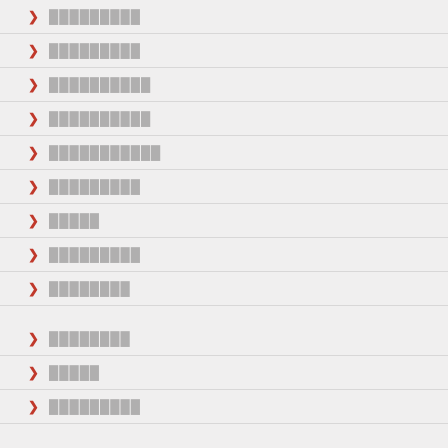█████████
█████████
██████████
██████████
███████████
█████████
█████
█████████
████████
████████
█████
█████████